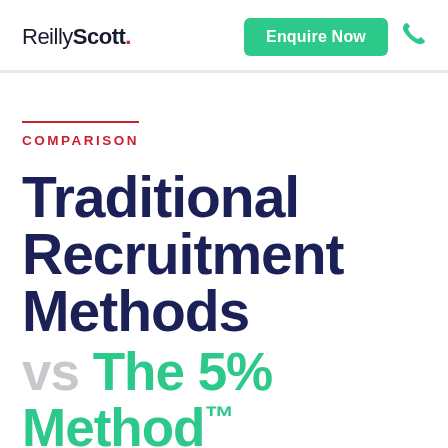ReillyScott.
Enquire Now
COMPARISON
Traditional Recruitment Methods vs The 5% Method™